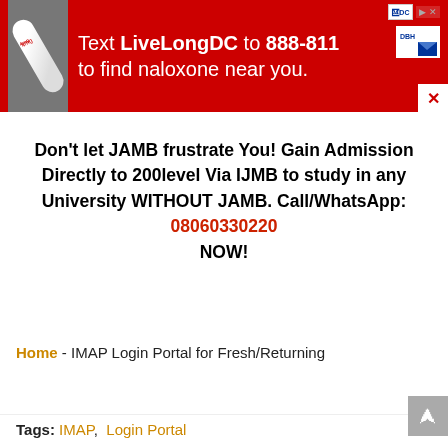[Figure (infographic): Red advertisement banner at top: 'Text LiveLongDC to 888-811 to find naloxone near you.' with pill image on left and logos on right.]
Don't let JAMB frustrate You! Gain Admission Directly to 200level Via IJMB to study in any University WITHOUT JAMB. Call/WhatsApp: 08060330220 NOW!
Home - IMAP Login Portal for Fresh/Returning
[Figure (infographic): Red advertisement banner at bottom: 'Text LiveLongDC to 888-811 to find naloxone near you.' with pill image on left and logos on right.]
Tags: IMAP, Login Portal